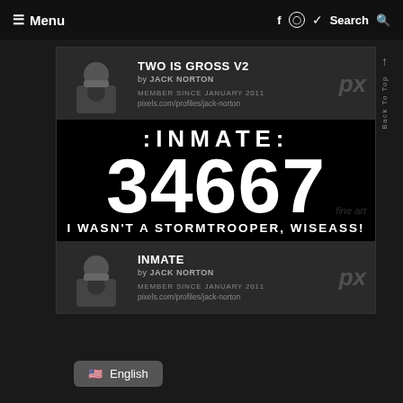≡ Menu   f  ⊙  🐦  Search 🔍
TWO IS GROSS V2
by JACK NORTON
MEMBER SINCE JANUARY 2011
pixels.com/profiles/jack-norton
[Figure (photo): Black and white photo thumbnail of person holding camera]
:INMATE:
34667
I WASN'T A STORMTROOPER, WISEASS!
INMATE
by JACK NORTON
MEMBER SINCE JANUARY 2011
pixels.com/profiles/jack-norton
[Figure (photo): Black and white photo thumbnail of person holding camera]
🇺🇸  English